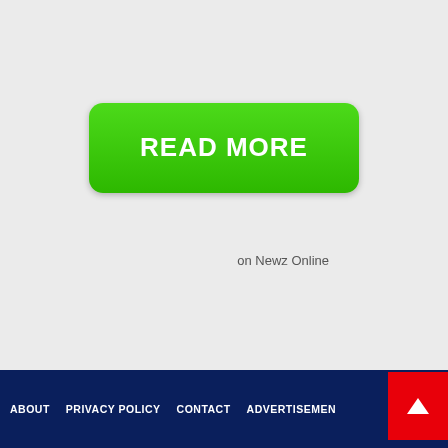[Figure (illustration): A green rounded rectangle button with white bold uppercase text reading READ MORE, with a gradient from lighter green at top to darker green at bottom, on a light gray background.]
on Newz Online
ABOUT   PRIVACY POLICY   CONTACT   ADVERTISEMENT
[Figure (illustration): A red square scroll-to-top button with a white upward arrow icon, positioned at the bottom right corner.]